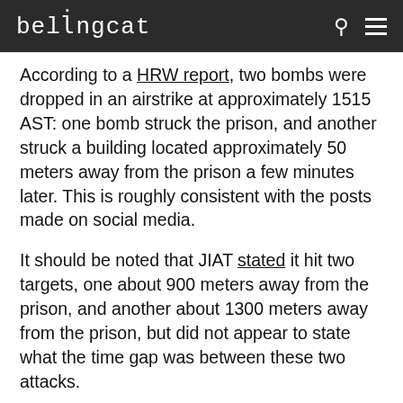bellingcat
According to a HRW report, two bombs were dropped in an airstrike at approximately 1515 AST: one bomb struck the prison, and another struck a building located approximately 50 meters away from the prison a few minutes later. This is roughly consistent with the posts made on social media.
It should be noted that JIAT stated it hit two targets, one about 900 meters away from the prison, and another about 1300 meters away from the prison, but did not appear to state what the time gap was between these two attacks.
STATEMENTS FROM